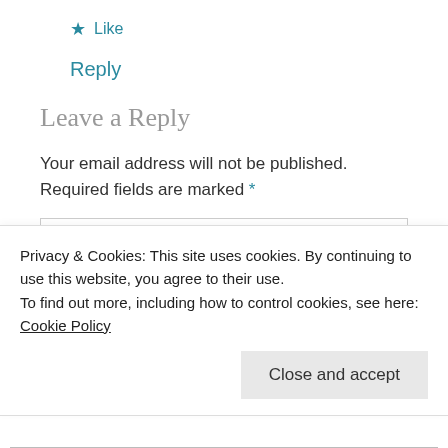★ Like
Reply
Leave a Reply
Your email address will not be published. Required fields are marked *
COMMENT *
Privacy & Cookies: This site uses cookies. By continuing to use this website, you agree to their use. To find out more, including how to control cookies, see here: Cookie Policy
Close and accept